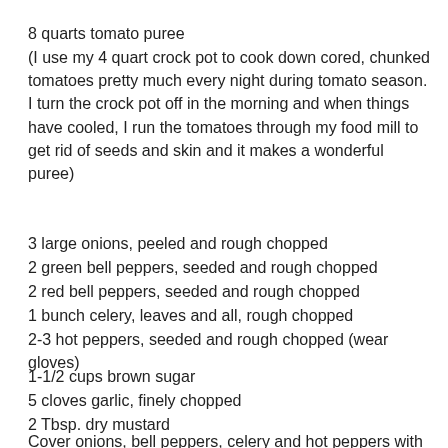8 quarts tomato puree
(I use my 4 quart crock pot to cook down cored, chunked tomatoes pretty much every night during tomato season. I turn the crock pot off in the morning and when things have cooled, I run the tomatoes through my food mill to get rid of seeds and skin and it makes a wonderful puree)
3 large onions, peeled and rough chopped
2 green bell peppers, seeded and rough chopped
2 red bell peppers, seeded and rough chopped
1 bunch celery, leaves and all, rough chopped
2-3 hot peppers, seeded and rough chopped (wear gloves)
1-1/2 cups brown sugar
5 cloves garlic, finely chopped
2 Tbsp. dry mustard
2 tsp. cayenne pepper
2 tsp. dried red pepper flakes
2 cups cider vinegar
Cover onions, bell peppers, celery and hot peppers with